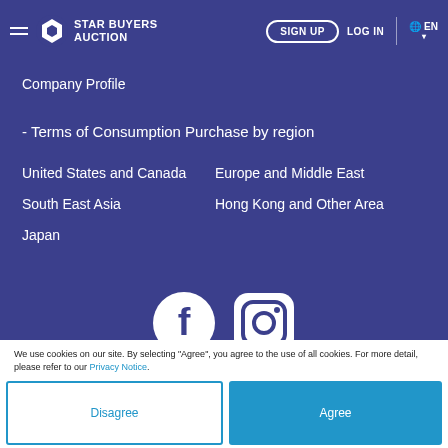Star Buyers Auction — SIGN UP  LOG IN  EN
Company Profile
- Terms of Consumption Purchase by region
United States and Canada
Europe and Middle East
South East Asia
Hong Kong and Other Area
Japan
[Figure (logo): Facebook and Instagram social media icons]
We use cookies on our site. By selecting "Agree", you agree to the use of all cookies. For more detail, please refer to our Privacy Notice.